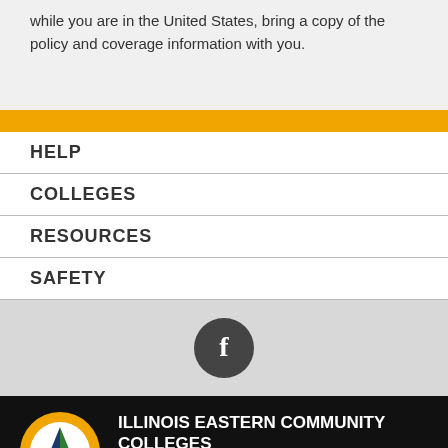while you are in the United States, bring a copy of the policy and coverage information with you.
HELP
COLLEGES
RESOURCES
SAFETY
[Figure (logo): Facebook social media icon in a dark circle]
[Figure (logo): Illinois Eastern Community Colleges logo — triangle with red, green, blue sections inside a gold circle]
ILLINOIS EASTERN COMMUNITY COLLEGES
233 East Chestnut Street, Olney, IL 62450
P:618-393-2982
O:866-582-4088